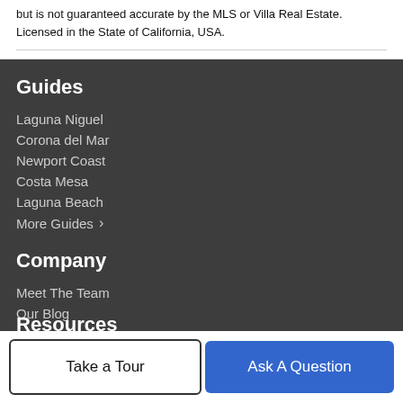but is not guaranteed accurate by the MLS or Villa Real Estate. Licensed in the State of California, USA.
Guides
Laguna Niguel
Corona del Mar
Newport Coast
Costa Mesa
Laguna Beach
More Guides ›
Company
Meet The Team
Our Blog
Resources
Take a Tour
Ask A Question